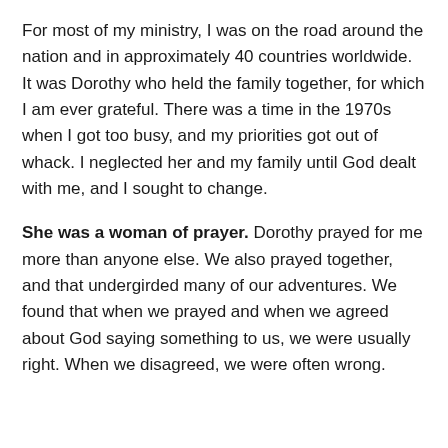For most of my ministry, I was on the road around the nation and in approximately 40 countries worldwide. It was Dorothy who held the family together, for which I am ever grateful. There was a time in the 1970s when I got too busy, and my priorities got out of whack. I neglected her and my family until God dealt with me, and I sought to change.
She was a woman of prayer. Dorothy prayed for me more than anyone else. We also prayed together, and that undergirded many of our adventures. We found that when we prayed and when we agreed about God saying something to us, we were usually right. When we disagreed, we were often wrong.